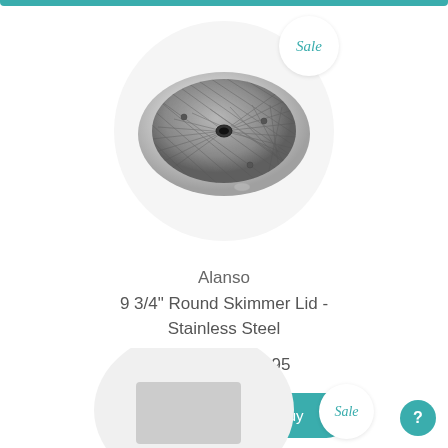[Figure (photo): Circular stainless steel 9 3/4 inch round skimmer lid with diamond-pattern mesh surface and center hole, shown at a slight angle on a light gray circular background. A 'Sale' badge appears in the top right corner.]
Alanso
9 3/4" Round Skimmer Lid - Stainless Steel
$279.95 $239.95
See More Details & Buy
[Figure (photo): Partial view of another product with a 'Sale' badge, cut off at the bottom of the page.]